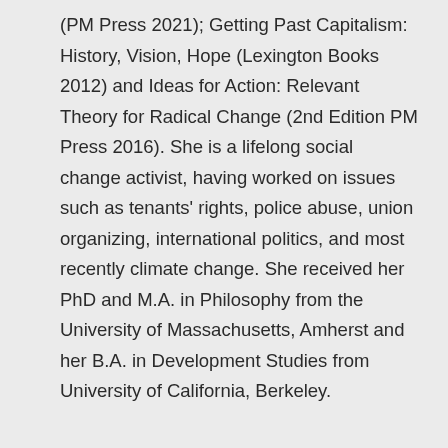(PM Press 2021); Getting Past Capitalism: History, Vision, Hope (Lexington Books 2012) and Ideas for Action: Relevant Theory for Radical Change (2nd Edition PM Press 2016). She is a lifelong social change activist, having worked on issues such as tenants' rights, police abuse, union organizing, international politics, and most recently climate change. She received her PhD and M.A. in Philosophy from the University of Massachusetts, Amherst and her B.A. in Development Studies from University of California, Berkeley.